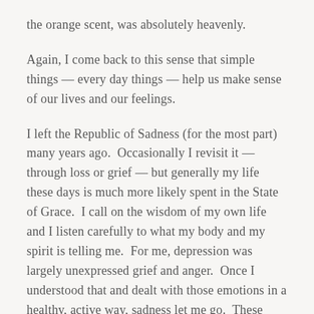the orange scent, was absolutely heavenly.
Again, I come back to this sense that simple things — every day things — help us make sense of our lives and our feelings.
I left the Republic of Sadness (for the most part) many years ago.  Occasionally I revisit it — through loss or grief — but generally my life these days is much more likely spent in the State of Grace.  I call on the wisdom of my own life and I listen carefully to what my body and my spirit is telling me.  For me, depression was largely unexpressed grief and anger.  Once I understood that and dealt with those emotions in a healthy, active way, sadness let me go.  These days, I see it as a place that I might vacation from time to time, but I never plan to stay there for long.
And the plague of weeds in my yard?  Now, I appreciate their